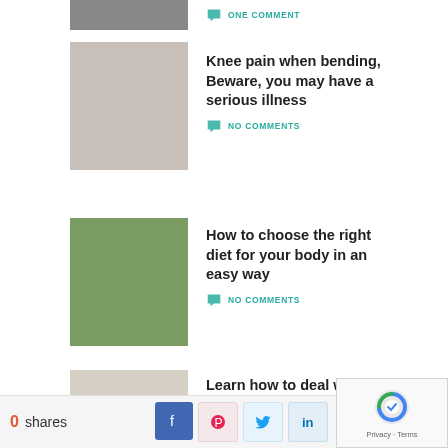[Figure (photo): Partial cropped image at top (person, dark tones)]
ONE COMMENT
[Figure (photo): Hands touching knee joint]
Knee pain when bending, Beware, you may have a serious illness
NO COMMENTS
[Figure (photo): Overhead view of healthy food bowls and green vegetables]
How to choose the right diet for your body in an easy way
NO COMMENTS
[Figure (photo): Underweight scale display]
Learn how to deal with underweight
NO COMMENTS
0 shares